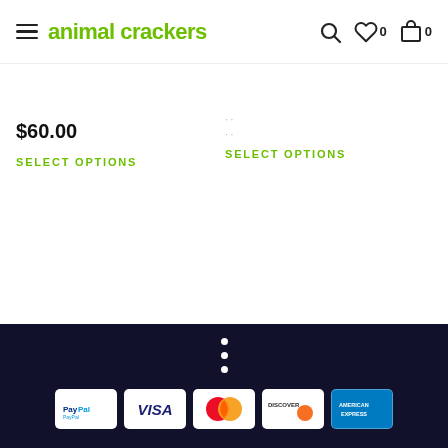animal crackers
$60.00
SELECT OPTIONS
SELECT OPTIONS
[Figure (logo): Payment method logos: PayPal, Visa, Mastercard, Discover, American Express]